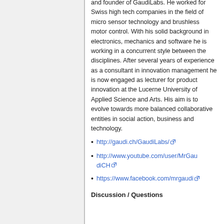and founder of GaudiLabs. He worked for Swiss high tech companies in the field of micro sensor technology and brushless motor control. With his solid background in electronics, mechanics and software he is working in a concurrent style between the disciplines. After several years of experience as a consultant in innovation management he is now engaged as lecturer for product innovation at the Lucerne University of Applied Science and Arts. His aim is to evolve towards more balanced collaborative entities in social action, business and technology.
http://gaudi.ch/GaudiLabs/
http://www.youtube.com/user/MrGaudiCH
https://www.facebook.com/mrgaudi
Discussion / Questions